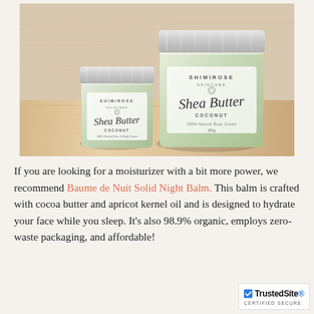[Figure (photo): Two Shimirose Skincare Shea Butter Coconut jars — one small (80g) and one large (250g) — with silver lids and light green tinted glass, sitting on a wooden surface. Labels read 'SHIMIROSE SKINCARE Shea Butter COCONUT 100% Natural Body Cream'.]
If you are looking for a moisturizer with a bit more power, we recommend Baume de Nuit Solid Night Balm. This balm is crafted with cocoa butter and apricot kernel oil and is designed to hydrate your face while you sleep. It's also 98.9% organic, employs zero-waste packaging, and affordable!
[Figure (logo): TrustedSite CERTIFIED SECURE badge with blue checkmark icon]